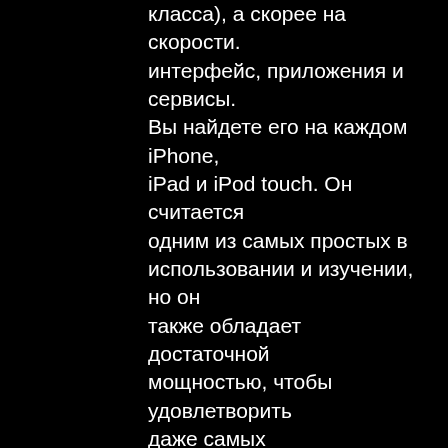класса), а скорее на скорости. интерфейс, приложения и сервисы. Вы найдете его на каждом iPhone, iPad и iPod touch. Он считается одним из самых простых в использовании и изучении, но он также обладает достаточной мощностью, чтобы удовлетворить даже самых требовательных пользователей. Некоторый из последних и самых инновационных приложений обычно прежде появляются чтобы iOS. Платформа Apple идеально оптимизирована – от времени автономной работы предварительно общей производительности. Apple имеет тревожный контроль и требования к приложениям, что делает их хорошо разработанными, только быть этом удобными в использовании. Интерфейс камеры – единовластно